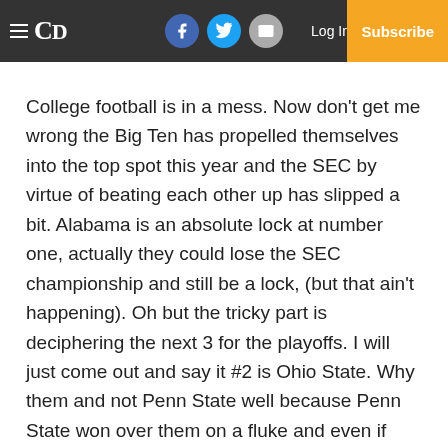CD | Log In | Subscribe
College football is in a mess. Now don't get me wrong the Big Ten has propelled themselves into the top spot this year and the SEC by virtue of beating each other up has slipped a bit. Alabama is an absolute lock at number one, actually they could lose the SEC championship and still be a lock, (but that ain't happening). Oh but the tricky part is deciphering the next 3 for the playoffs. I will just come out and say it #2 is Ohio State. Why them and not Penn State well because Penn State won over them on a fluke and even if they win the Big Ten they are not one of the top four teams. Penn State got